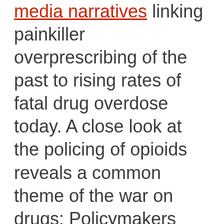Media Narratives linking painkiller overprescribing of the past to rising rates of fatal drug overdose today. A close look at the policing of opioids reveals a common theme of the war on drugs: Policymakers and drug police are harming the same people they claim to help. Like the drug war, the painful side effects of the opioid crackdown disproportionately fall on lower-income people and people of color, whether they use opioids for any